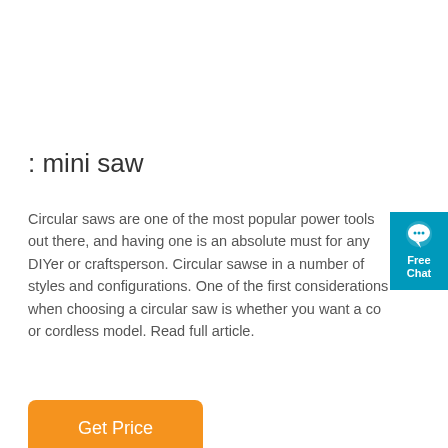: mini saw
Circular saws are one of the most popular power tools out there, and having one is an absolute must for any DIYer or craftsperson. Circular sawse in a number of styles and configurations. One of the first considerations when choosing a circular saw is whether you want a co or cordless model. Read full article.
[Figure (other): Blue chat widget with speech bubble icon and text 'Free Chat']
Get Price